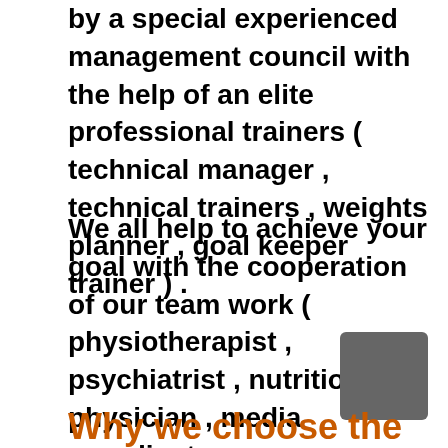by a special experienced management council with the help of an elite professional trainers ( technical manager , technical trainers , weights planner , goal keeper trainer ) .
We all help to achieve your goal with the cooperation of our team work ( physiotherapist , psychiatrist , nutrition physician , media coordinator , administrative coordinator , public relations officer ) .
Why we choose the